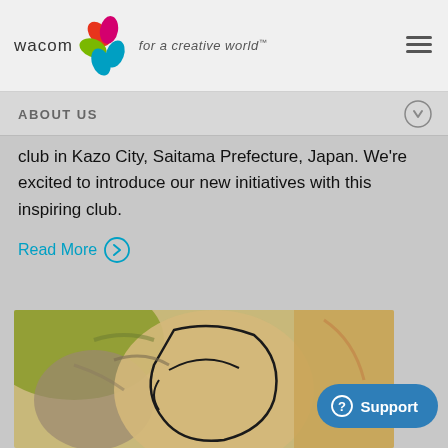wacom for a creative world™
ABOUT US
club in Kazo City, Saitama Prefecture, Japan. We're excited to introduce our new initiatives with this inspiring club.
Read More
[Figure (illustration): Digital illustration of a face with green, brown, and beige tones, drawn in a stylized painterly manner]
Support